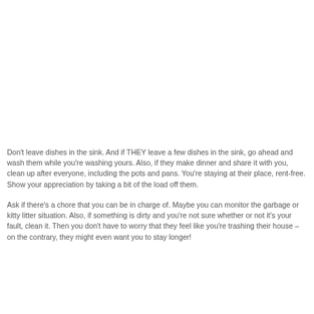Don't leave dishes in the sink. And if THEY leave a few dishes in the sink, go ahead and wash them while you're washing yours. Also, if they make dinner and share it with you, clean up after everyone, including the pots and pans. You're staying at their place, rent-free. Show your appreciation by taking a bit of the load off them.
Ask if there's a chore that you can be in charge of. Maybe you can monitor the garbage or kitty litter situation. Also, if something is dirty and you're not sure whether or not it's your fault, clean it. Then you don't have to worry that they feel like you're trashing their house – on the contrary, they might even want you to stay longer!